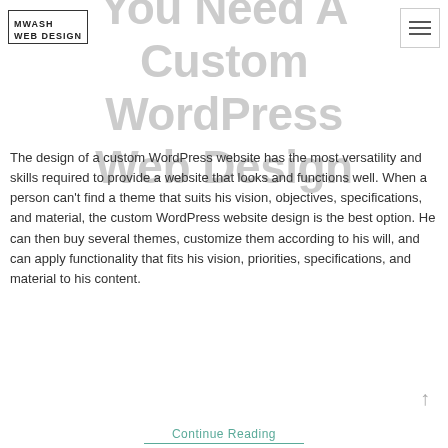[Figure (logo): MWASH Web Design logo in a rectangular border]
[Figure (other): Hamburger menu icon (three horizontal lines) in a square border]
You Need A Custom WordPress Web Design
The design of a custom WordPress website has the most versatility and skills required to provide a website that looks and functions well. When a person can't find a theme that suits his vision, objectives, specifications, and material, the custom WordPress website design is the best option. He can then buy several themes, customize them according to his will, and can apply functionality that fits his vision, priorities, specifications, and material to his content.
Continue Reading